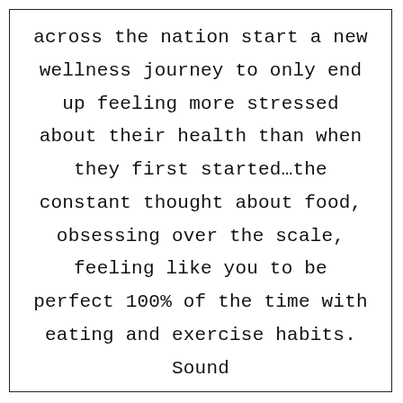across the nation start a new wellness journey to only end up feeling more stressed about their health than when they first started…the constant thought about food, obsessing over the scale, feeling like you to be perfect 100% of the time with eating and exercise habits. Sound